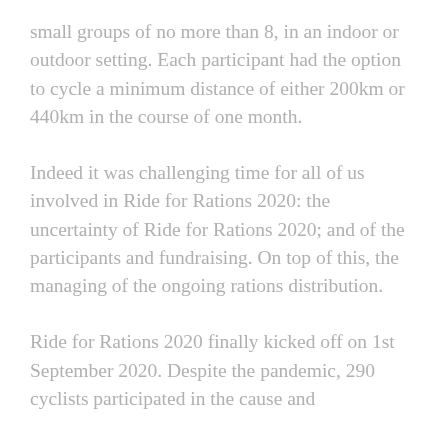small groups of no more than 8, in an indoor or outdoor setting. Each participant had the option to cycle a minimum distance of either 200km or 440km in the course of one month.
Indeed it was challenging time for all of us involved in Ride for Rations 2020: the uncertainty of Ride for Rations 2020; and of the participants and fundraising. On top of this, the managing of the ongoing rations distribution.
Ride for Rations 2020 finally kicked off on 1st September 2020. Despite the pandemic, 290 cyclists participated in the cause and